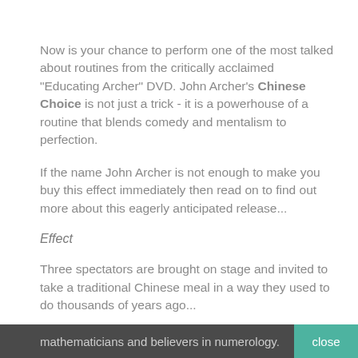Now is your chance to perform one of the most talked about routines from the critically acclaimed "Educating Archer" DVD. John Archer's Chinese Choice is not just a trick - it is a powerhouse of a routine that blends comedy and mentalism to perfection.
If the name John Archer is not enough to make you buy this effect immediately then read on to find out more about this eagerly anticipated release...
Effect
Three spectators are brought on stage and invited to take a traditional Chinese meal in a way they used to do thousands of years ago...
You explain that the ancient Chinese were great mathematicians and believers in numerology.
mathematicians and believers in numerology.